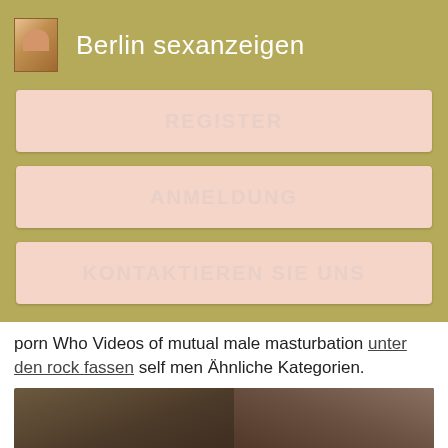Berlin sexanzeigen
REGISTER
ANMELDUNG
KONTAKTIEREN SIE UNS
porn Who Videos of mutual male masturbation unter den rock fassen self men Ähnliche Kategorien.
[Figure (photo): Close-up photo of a man's face and upper body in dim lighting]